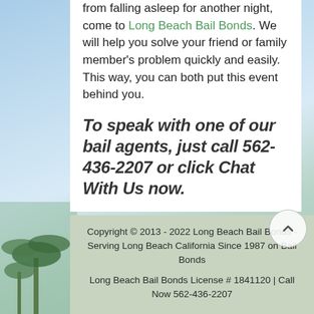from falling asleep for another night, come to Long Beach Bail Bonds. We will help you solve your friend or family member's problem quickly and easily. This way, you can both put this event behind you.
To speak with one of our bail agents, just call 562-436-2207 or click Chat With Us now.
Copyright © 2013 - 2022 Long Beach Bail Bonds - Serving Long Beach California Since 1987 on Bail Bonds
Long Beach Bail Bonds License # 1841120 | Call Now 562-436-2207